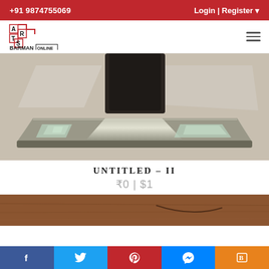+91 9874755069   Login | Register
[Figure (logo): Arts Barman Online logo with red staircase design and text]
[Figure (photo): Close-up photograph of a metallic sculptural artwork with jeweled or crystal embellishments on a base, dark central element]
UNTITLED - II
₹0 | $1
[Figure (photo): Partial view of a wooden artwork surface with a curved line or inscription]
Facebook | Twitter | Pinterest | Messenger | Blogger social share buttons